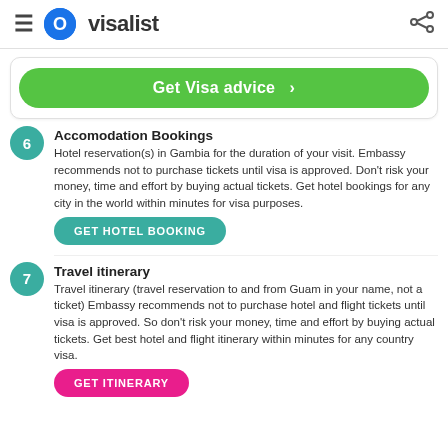visalist
Get Visa advice >
Accomodation Bookings
Hotel reservation(s) in Gambia for the duration of your visit. Embassy recommends not to purchase tickets until visa is approved. Don't risk your money, time and effort by buying actual tickets. Get hotel bookings for any city in the world within minutes for visa purposes.
GET HOTEL BOOKING
Travel itinerary
Travel itinerary (travel reservation to and from Guam in your name, not a ticket) Embassy recommends not to purchase hotel and flight tickets until visa is approved. So don't risk your money, time and effort by buying actual tickets. Get best hotel and flight itinerary within minutes for any country visa.